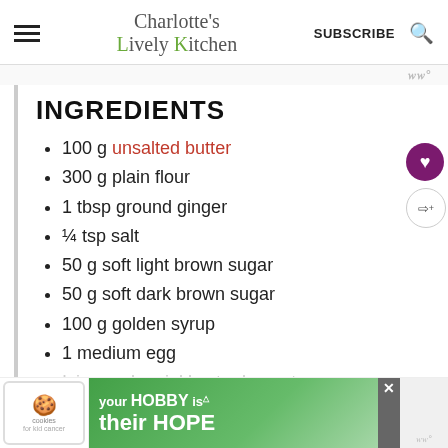Charlotte's Lively Kitchen — SUBSCRIBE
INGREDIENTS
100 g unsalted butter
300 g plain flour
1 tbsp ground ginger
¼ tsp salt
50 g soft light brown sugar
50 g soft dark brown sugar
100 g golden syrup
1 medium egg
Icing and sprinkles to decorate
[Figure (infographic): Advertisement banner: cookies for kid cancer charity, 'your HOBBY is their HOPE']